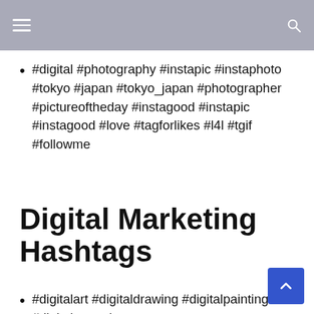#digital #photography #instapic #instaphoto #tokyo #japan #tokyo_japan #photographer #pictureoftheday #instagood #instapic #instagood #love #tagforlikes #l4l #tgif #followme
Digital Marketing Hashtags
#digitalart #digitaldrawing #digitalpainting #digitalartwork